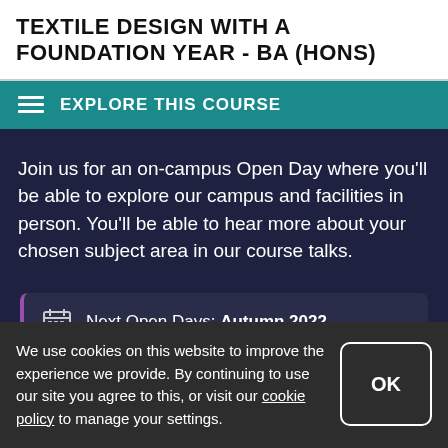TEXTILE DESIGN WITH A FOUNDATION YEAR - BA (HONS)
EXPLORE THIS COURSE
Join us for an on-campus Open Day where you'll be able to explore our campus and facilities in person. You'll be able to hear more about your chosen subject area in our course talks.
Next Open Days: Autumn 2022
We use cookies on this website to improve the experience we provide. By continuing to use our site you agree to this, or visit our cookie policy to manage your settings.